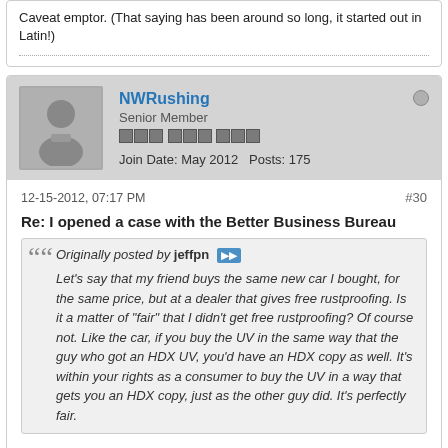Caveat emptor. (That saying has been around so long, it started out in Latin!)
NWRushing
Senior Member
Join Date: May 2012   Posts: 175
12-15-2012, 07:17 PM
#30
Re: I opened a case with the Better Business Bureau
Originally posted by jeffpn
Let's say that my friend buys the same new car I bought, for the same price, but at a dealer that gives free rustproofing. Is it a matter of "fair" that I didn't get free rustproofing? Of course not. Like the car, if you buy the UV in the same way that the guy who got an HDX UV, you'd have an HDX copy as well. It's within your rights as a consumer to buy the UV in a way that gets you an HDX copy, just as the other guy did. It's perfectly fair.
I think the point rdodolak was attempting to make was that we need consistency.